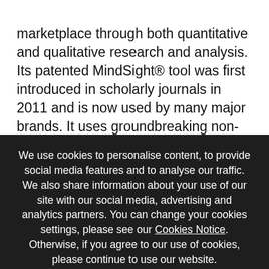marketplace through both quantitative and qualitative research and analysis. Its patented MindSight® tool was first introduced in scholarly journals in 2011 and is now used by many major brands. It uses groundbreaking non-cognitive techniques to identify the underlying and often unconscious motivations that govern consumer behaviour and to measure the extent to which a brand's communications and customer experience
We use cookies to personalise content, to provide social media features and to analyse our traffic. We also share information about your use of our site with our social media, advertising and analytics partners. You can change your cookies settings, please see our Cookies Notice. Otherwise, if you agree to our use of cookies, please continue to use our website.
OK